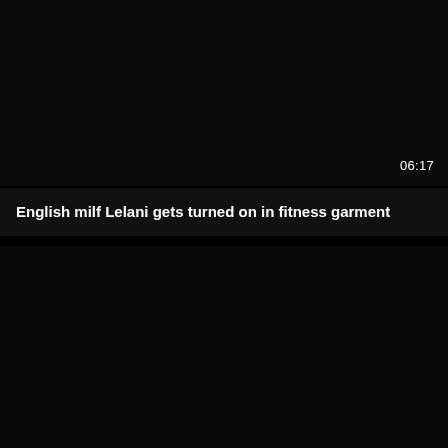[Figure (screenshot): Dark/black video thumbnail placeholder at top]
06:17
English milf Lelani gets turned on in fitness garment
[Figure (screenshot): Dark/black video thumbnail placeholder at bottom]